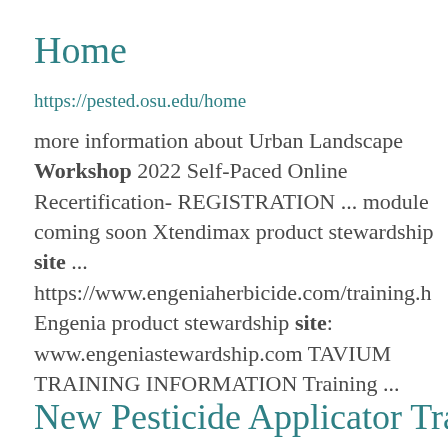Home
https://pested.osu.edu/home
more information about Urban Landscape Workshop 2022 Self-Paced Online Recertification- REGISTRATION ... module coming soon Xtendimax product stewardship site ... https://www.engeniaherbicide.com/training.h Engenia product stewardship site: www.engeniastewardship.com TAVIUM TRAINING INFORMATION Training ...
New Pesticide Applicator Training-